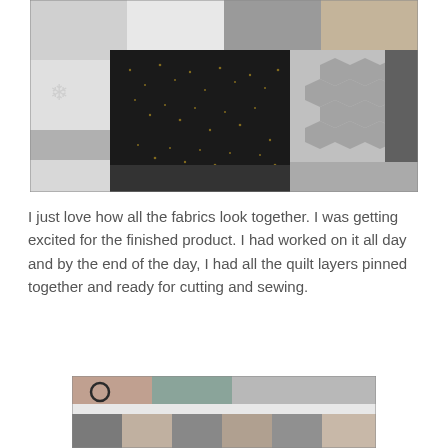[Figure (photo): Overhead view of a patchwork quilt with black/gold speckled fabric, grey hexagon-patterned fabric, solid grey and light textured fabric squares arranged in a checkerboard-like pattern on a flat surface.]
I just love how all the fabrics look together.  I was getting excited for the finished product.  I had worked on it all day and by the end of the day, I had all the quilt layers pinned together and ready for cutting and sewing.
[Figure (photo): Close-up partial view of a quilt showing muted pink, teal, grey, and brown fabric squares with a white border strip, and a circular pin or hoop visible in the upper left.]